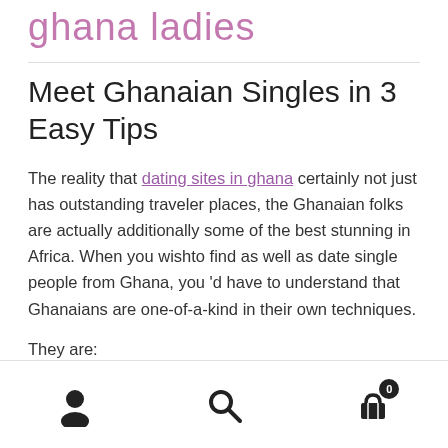ghana ladies
Meet Ghanaian Singles in 3 Easy Tips
The reality that dating sites in ghana certainly not just has outstanding traveler places, the Ghanaian folks are actually additionally some of the best stunning in Africa. When you wishto find as well as date single people from Ghana, you 'd have to understand that Ghanaians are one-of-a-kind in their own techniques.
They are: